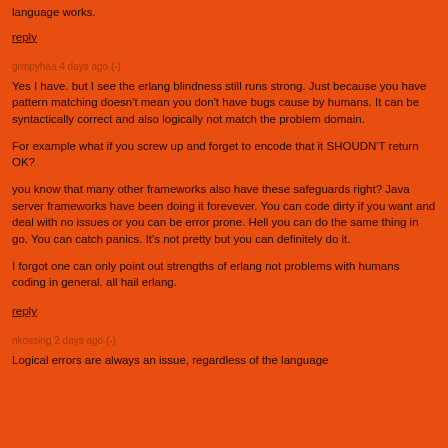language works.
reply
grmpyhaa 4 days ago (-)
Yes I have. but I see the erlang blindness still runs strong. Just because you have pattern matching doesn't mean you don't have bugs cause by humans. It can be syntactically correct and also logically not match the problem domain.
For example what if you screw up and forget to encode that it SHOUDN'T return OK?
you know that many other frameworks also have these safeguards right? Java server frameworks have been doing it forevever. You can code dirty if you want and deal with no issues or you can be error prone. Hell you can do the same thing in go. You can catch panics. It's not pretty but you can definitely do it.
I forgot one can only point out strengths of erlang not problems with humans coding in general. all hail erlang.
reply
nkossing 2 days ago (-)
Logical errors are always an issue, regardless of the language